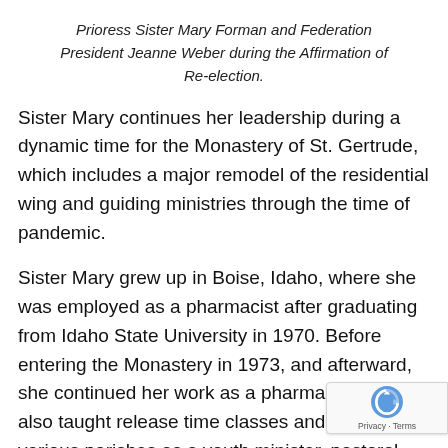Prioress Sister Mary Forman and Federation President Jeanne Weber during the Affirmation of Re-election.
Sister Mary continues her leadership during a dynamic time for the Monastery of St. Gertrude, which includes a major remodel of the residential wing and guiding ministries through the time of pandemic.
Sister Mary grew up in Boise, Idaho, where she was employed as a pharmacist after graduating from Idaho State University in 1970. Before entering the Monastery in 1973, and afterward, she continued her work as a pharmacist. She also taught release time classes and served in various parishes as a youth minister, pastoral associate, director o...